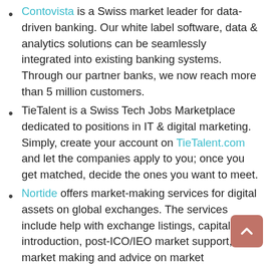Contovista is a Swiss market leader for data-driven banking. Our white label software, data & analytics solutions can be seamlessly integrated into existing banking systems. Through our partner banks, we now reach more than 5 million customers.
TieTalent is a Swiss Tech Jobs Marketplace dedicated to positions in IT & digital marketing. Simply, create your account on TieTalent.com and let the companies apply to you; once you get matched, decide the ones you want to meet.
Nortide offers market-making services for digital assets on global exchanges. The services include help with exchange listings, capital introduction, post-ICO/IEO market support, market making and advice on market communication.
Together we build the future of last-mile delivery and grocery shopping. Backed by a major Swiss Venture Fund, MIACAR successfully launched in the region of Bern and we are now growing our company at high speed. Join us in becoming the category king in Switzerland by being an entrepreneur and...